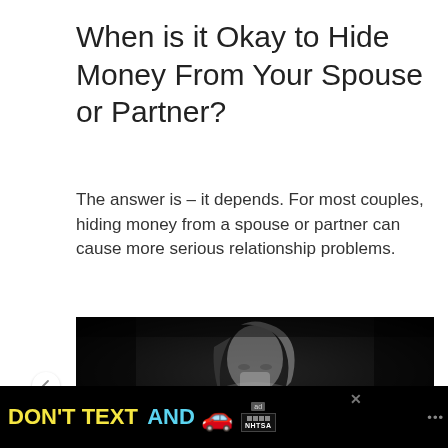When is it Okay to Hide Money From Your Spouse or Partner?
The answer is – it depends. For most couples, hiding money from a spouse or partner can cause more serious relationship problems.
[Figure (photo): Black and white photo of a distressed woman with her hands covering her mouth, looking down]
[Figure (infographic): Advertisement banner: DON'T TEXT AND [car emoji] with ad and NHTSA logos]